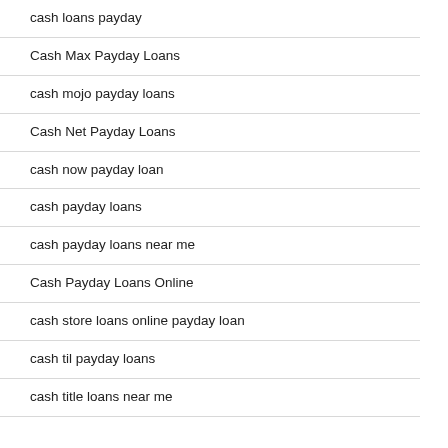cash loans payday
Cash Max Payday Loans
cash mojo payday loans
Cash Net Payday Loans
cash now payday loan
cash payday loans
cash payday loans near me
Cash Payday Loans Online
cash store loans online payday loan
cash til payday loans
cash title loans near me